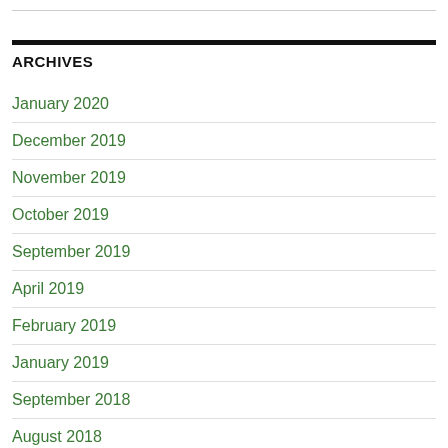ARCHIVES
January 2020
December 2019
November 2019
October 2019
September 2019
April 2019
February 2019
January 2019
September 2018
August 2018